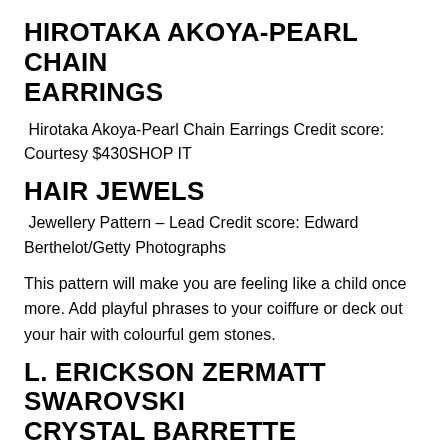HIROTAKA AKOYA-PEARL CHAIN EARRINGS
Hirotaka Akoya-Pearl Chain Earrings Credit score: Courtesy $430SHOP IT
HAIR JEWELS
Jewellery Pattern – Lead Credit score: Edward Berthelot/Getty Photographs
This pattern will make you are feeling like a child once more. Add playful phrases to your coiffure or deck out your hair with colourful gem stones.
L. ERICKSON ZERMATT SWAROVSKI CRYSTAL BARRETTE